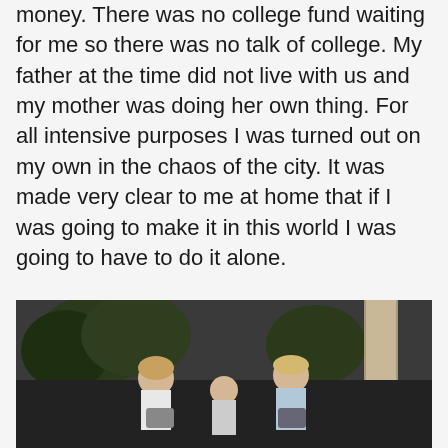money. There was no college fund waiting for me so there was no talk of college. My father at the time did not live with us and my mother was doing her own thing. For all intensive purposes I was turned out on my own in the chaos of the city. It was made very clear to me at home that if I was going to make it in this world I was going to have to do it alone.
[Figure (photo): Black and white photograph showing three children/young people outdoors, with trees in the background and a column visible on the right side.]